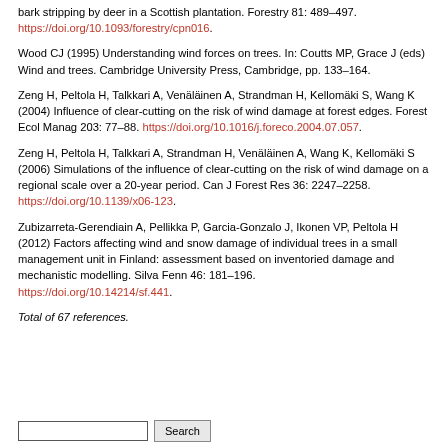bark stripping by deer in a Scottish plantation. Forestry 81: 489–497. https://doi.org/10.1093/forestry/cpn016.
Wood CJ (1995) Understanding wind forces on trees. In: Coutts MP, Grace J (eds) Wind and trees. Cambridge University Press, Cambridge, pp. 133–164.
Zeng H, Peltola H, Talkkari A, Venäläinen A, Strandman H, Kellomäki S, Wang K (2004) Influence of clear-cutting on the risk of wind damage at forest edges. Forest Ecol Manag 203: 77–88. https://doi.org/10.1016/j.foreco.2004.07.057.
Zeng H, Peltola H, Talkkari A, Strandman H, Venäläinen A, Wang K, Kellomäki S (2006) Simulations of the influence of clear-cutting on the risk of wind damage on a regional scale over a 20-year period. Can J Forest Res 36: 2247–2258. https://doi.org/10.1139/x06-123.
Zubizarreta-Gerendiain A, Pellikka P, Garcia-Gonzalo J, Ikonen VP, Peltola H (2012) Factors affecting wind and snow damage of individual trees in a small management unit in Finland: assessment based on inventoried damage and mechanistic modelling. Silva Fenn 46: 181–196. https://doi.org/10.14214/sf.441.
Total of 67 references.